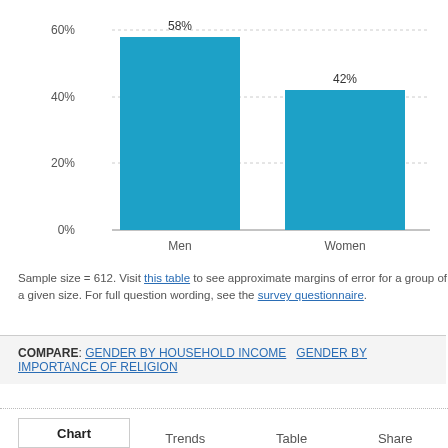[Figure (bar-chart): ]
Sample size = 612. Visit this table to see approximate margins of error for a group of a given size. For full question wording, see the survey questionnaire.
COMPARE: GENDER BY HOUSEHOLD INCOME   GENDER BY IMPORTANCE OF RELIGION